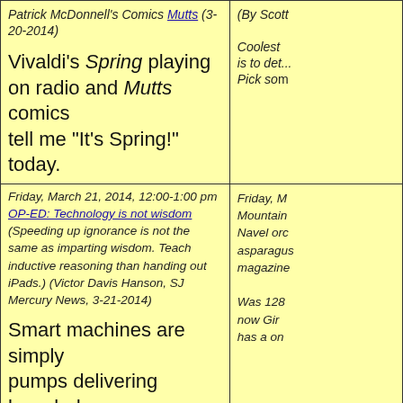| Patrick McDonnell's Comics Mutts (3-20-2014)

Vivaldi's Spring playing on radio and Mutts comics tell me "It's Spring!" today. | (By Scott...

Coolest is to det... Pick som... |
| Friday, March 21, 2014, 12:00-1:00 pm
OP-ED: Technology is not wisdom (Speeding up ignorance is not the same as imparting wisdom. Teach inductive reasoning than handing out iPads.) (Victor Davis Hanson, SJ Mercury News, 3-21-2014)

Smart machines are simply pumps delivering knowledge, not knowledge itself. | Friday, M... Mountain... Navel or... asparagus... magazine...

Was 128... now Gir... has a on... |
| Saturday, March 22, 2014, 3:00-5:00 pm
Los Altos Hills, Foothill Krause Center
SPORTS: Oakland A's incorporate yoga into their daily routine (Yoga instructor Katherine Roberts is in her 3rd spring training leading A's in yoga stretches.) (By John Hickey, SJ Mercury News, 3-21-2014 | Saturday,... Los Altos... SPORTS:... daily rou... it's easier... (By John... |